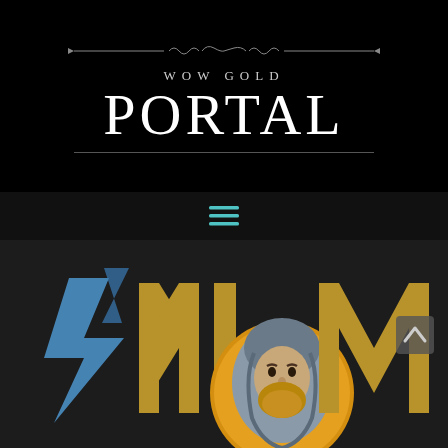[Figure (logo): WOW GOLD PORTAL logo: decorative swirl divider, subtitle 'WOW GOLD' in spaced serif caps, large 'PORTAL' text, horizontal underline rule]
[Figure (illustration): Hamburger menu icon with three teal horizontal lines on dark background]
[Figure (illustration): Partial view of a gaming/WoW related logo: stylized angular letters in blue and gold/dark-yellow color scheme with a bearded robed character face on an orange circle background, scroll-up chevron button on the right]